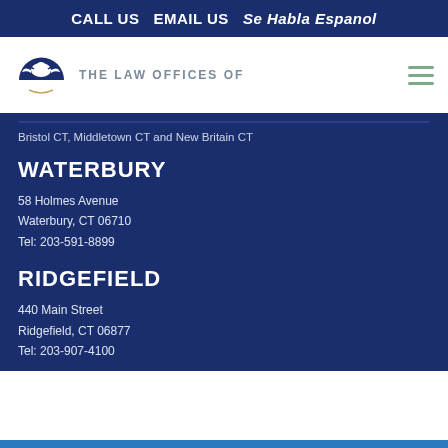CALL US EMAIL US Se Habla Espanol
[Figure (logo): The Law Offices logo with eagle/bird icon and text 'THE LAW OFFICES OF']
Bristol CT, Middletown CT and New Britain CT
WATERBURY
58 Holmes Avenue
Waterbury, CT 06710
Tel: 203-591-8899
RIDGEFIELD
440 Main Street
Ridgefield, CT 06877
Tel: 203-907-4100